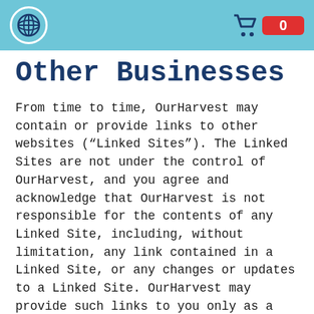OurHarvest [logo] [cart: 0]
Other Businesses
From time to time, OurHarvest may contain or provide links to other websites (“Linked Sites”). The Linked Sites are not under the control of OurHarvest, and you agree and acknowledge that OurHarvest is not responsible for the contents of any Linked Site, including, without limitation, any link contained in a Linked Site, or any changes or updates to a Linked Site. OurHarvest may provide such links to you only as a convenience, and the inclusion of any link does not imply endorsement by OurHarvest of the site or any association with its operators, or that OurHarvest deems such site to be safe for use. OurHarvest is not responsible for examining or evaluating, and OurHarvest does not warrant the offerings of, any of these businesses or individuals or the